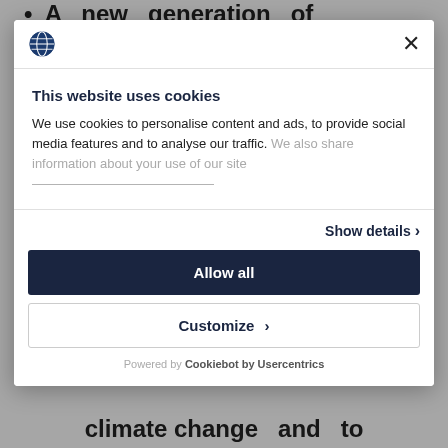• A new generation of
[Figure (screenshot): Cookie consent modal dialog with globe icon, close button, cookie notice text, Show details link, Allow all button, Customize button, and Powered by Cookiebot by Usercentrics footer]
climate change and to